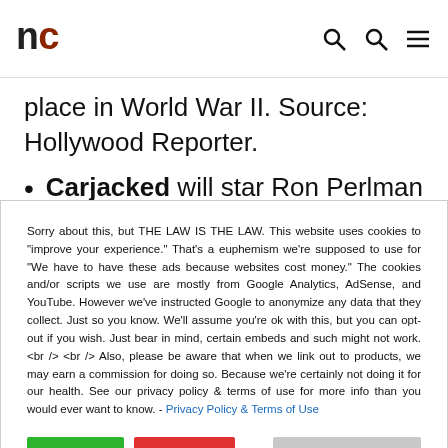nc
place in World War II. Source: Hollywood Reporter.
Carjacked will star Ron Perlman and Saffron Burrows. It's about a single mother who, along with her kid, has the title happen to her by a bank robber.
I'm assuming Perlman is the robber and Burrows is
Sorry about this, but THE LAW IS THE LAW. This website uses cookies to "improve your experience." That's a euphemism we're supposed to use for "We have to have these ads because websites cost money." The cookies and/or scripts we use are mostly from Google Analytics, AdSense, and YouTube. However we've instructed Google to anonymize any data that they collect. Just so you know. We'll assume you're ok with this, but you can opt-out if you wish. Just bear in mind, certain embeds and such might not work.<br /> <br /> Also, please be aware that when we link out to products, we may earn a commission for doing so. Because we're certainly not doing it for our health. See our privacy policy & terms of use for more info than you would ever want to know. - Privacy Policy & Terms of Use